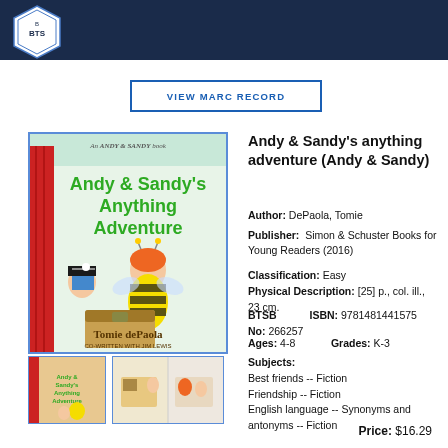VIEW MARC RECORD
[Figure (illustration): Book cover: Andy & Sandy's Anything Adventure by Tomie dePaola. Shows two children in costumes (bee and pirate) with a treasure chest. Green title text on light background.]
[Figure (illustration): Thumbnail 1: Small version of book cover]
[Figure (illustration): Thumbnail 2: Interior spread thumbnail]
Andy & Sandy's anything adventure (Andy & Sandy)
Author: DePaola, Tomie
Publisher: Simon & Schuster Books for Young Readers (2016)
Classification: Easy
Physical Description: [25] p., col. ill., 23 cm.
BTSB No: 266257   ISBN: 9781481441575
Ages: 4-8   Grades: K-3
Subjects: Best friends -- Fiction Friendship -- Fiction English language -- Synonyms and antonyms -- Fiction
Price: $16.29